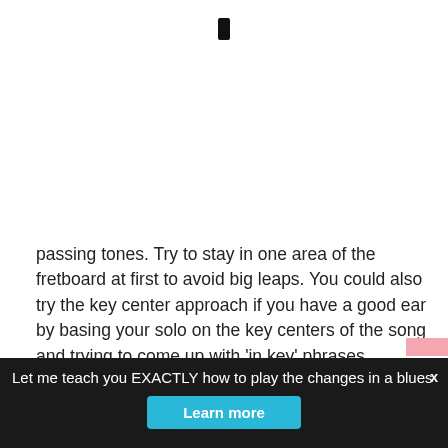[Figure (other): Small black bookmark/phone icon near top center]
passing tones. Try to stay in one area of the fretboard at first to avoid big leaps. You could also try the key center approach if you have a good ear by basing your solo on the key centers of the song and trying to come up with 'in key' phrases.
If you're just starting out playing over changes then check out the following two articles:
Let me teach you EXACTLY how to play the changes in a blues  Learn more